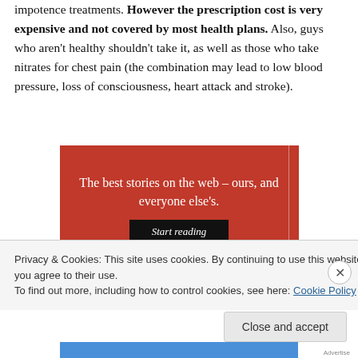impotence treatments. However the prescription cost is very expensive and not covered by most health plans. Also, guys who aren't healthy shouldn't take it, as well as those who take nitrates for chest pain (the combination may lead to low blood pressure, loss of consciousness, heart attack and stroke).
[Figure (other): Red advertisement banner reading 'The best stories on the web – ours, and everyone else's.' with a 'Start reading' button]
Privacy & Cookies: This site uses cookies. By continuing to use this website, you agree to their use.
To find out more, including how to control cookies, see here: Cookie Policy